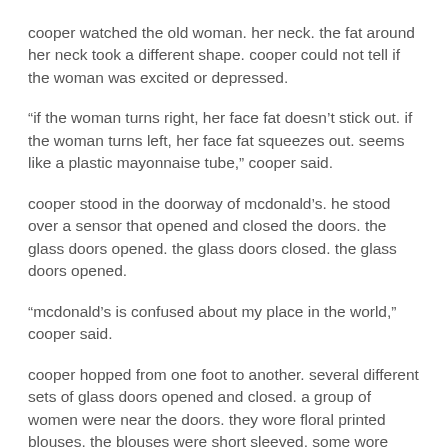cooper watched the old woman. her neck. the fat around her neck took a different shape. cooper could not tell if the woman was excited or depressed.
“if the woman turns right, her face fat doesn’t stick out. if the woman turns left, her face fat squeezes out. seems like a plastic mayonnaise tube,” cooper said.
cooper stood in the doorway of mcdonald’s. he stood over a sensor that opened and closed the doors. the glass doors opened. the glass doors closed. the glass doors opened.
“mcdonald’s is confused about my place in the world,” cooper said.
cooper hopped from one foot to another. several different sets of glass doors opened and closed. a group of women were near the doors. they wore floral printed blouses. the blouses were short sleeved. some wore black pants. others wore white pants. most had short hair.
cooper immediately identified them by the tone of their skin,